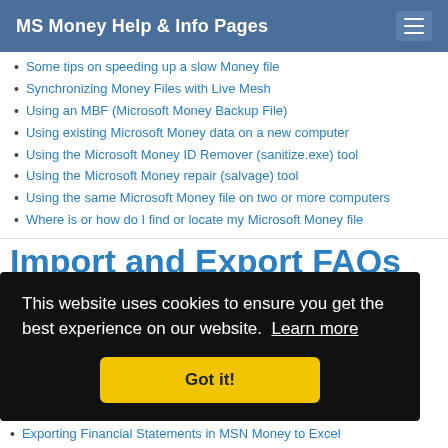MS Money Help & Info Pages
Some tips on speeding up a slow Money file
Synchronizing Money Files with Live Mesh
Using an MBF (Microsoft Money Backup File)
Using existing Microsoft Money data on a new computer
Using the Microsoft Money ID Remover (sanitize.exe) tool
Using the Microsoft Money repair (salvage) tool
Using the same Microsoft Money file on two or more computers
Where is or how do I find or locate my Microsoft Money file
Import and Export FAQs
This website uses cookies to ensure you get the best experience on our website. Learn more
Got it!
Exporting Financial Statements in MSN Money to Excel